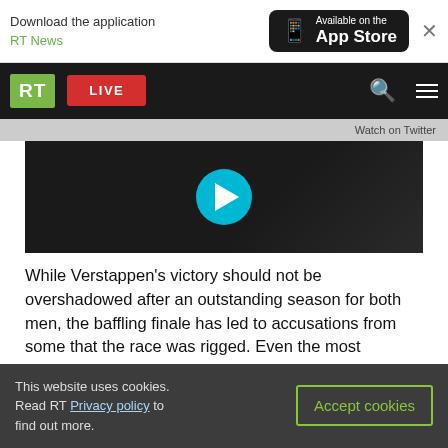[Figure (screenshot): App download banner with RT News logo and App Store button]
[Figure (screenshot): RT News website navigation bar with RT logo, LIVE button, search and menu icons]
[Figure (screenshot): Video thumbnail with blue play button on dark background]
While Verstappen's victory should not be overshadowed after an outstanding season for both men, the baffling finale has led to accusations from some that the race was rigged. Even the most reserved critics have questioned the integrity of governing body the FIA.
Hamilton and the principal of his Mercedes team, Toto Wolff, shunned the subsequent end of
This website uses cookies. Read RT Privacy policy to find out more.